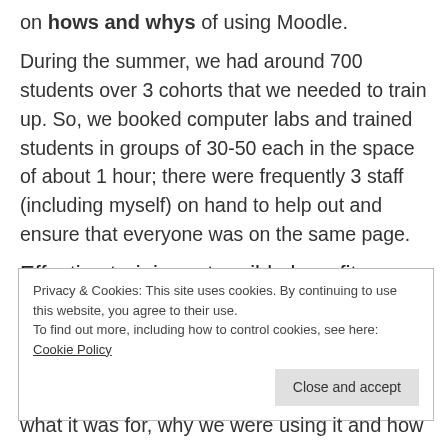on hows and whys of using Moodle.
During the summer, we had around 700 students over 3 cohorts that we needed to train up. So, we booked computer labs and trained students in groups of 30-50 each in the space of about 1 hour; there were frequently 3 staff (including myself) on hand to help out and ensure that everyone was on the same page.
Effective training = tangible benefits
Privacy & Cookies: This site uses cookies. By continuing to use this website, you agree to their use.
To find out more, including how to control cookies, see here: Cookie Policy
what it was for, why we were using it and how